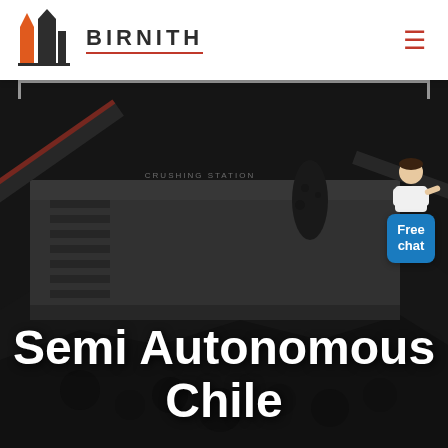[Figure (logo): Birnith company logo with orange/red building icon and brand name BIRNITH with red underline]
[Figure (photo): Industrial crushing station with large mining/crushing machinery, coal/rock piles, dark and gritty atmosphere. Text overlay reads 'Semi Autonomous Chile'. A chat support bubble with 'Free chat' appears in the top right corner of the image.]
Semi Autonomous Chile